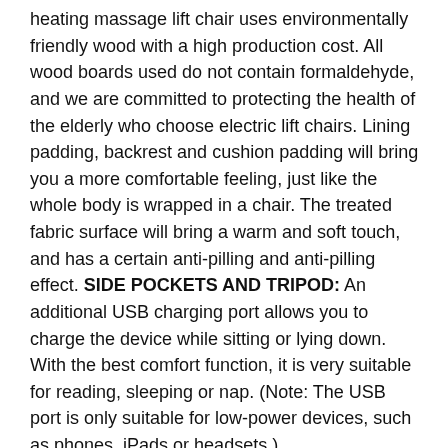heating massage lift chair uses environmentally friendly wood with a high production cost. All wood boards used do not contain formaldehyde, and we are committed to protecting the health of the elderly who choose electric lift chairs. Lining padding, backrest and cushion padding will bring you a more comfortable feeling, just like the whole body is wrapped in a chair. The treated fabric surface will bring a warm and soft touch, and has a certain anti-pilling and anti-pilling effect. SIDE POCKETS AND TRIPOD: An additional USB charging port allows you to charge the device while sitting or lying down. With the best comfort function, it is very suitable for reading, sleeping or nap. (Note: The USB port is only suitable for low-power devices, such as phones, iPads or headsets.)
FEATURE:
The lifting mechanism pushes up the chair to help the elderly stand up easily
The Lift&Recline control panel on the right armrest integrates a USB charging function, which is easy to operate (the lifting